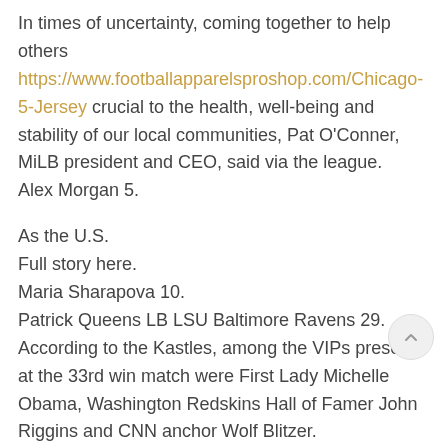In times of uncertainty, coming together to help others https://www.footballapparelsproshop.com/Chicago-5-Jersey crucial to the health, well-being and stability of our local communities, Pat O'Conner, MiLB president and CEO, said via the league.
Alex Morgan 5.

As the U.S.
Full story here.
Maria Sharapova 10.
Patrick Queens LB LSU Baltimore Ravens 29.
According to the Kastles, among the VIPs present at the 33rd win match were First Lady Michelle Obama, Washington Redskins Hall of Famer John Riggins and CNN anchor Wolf Blitzer.
• The NBA said that 205 players – 163